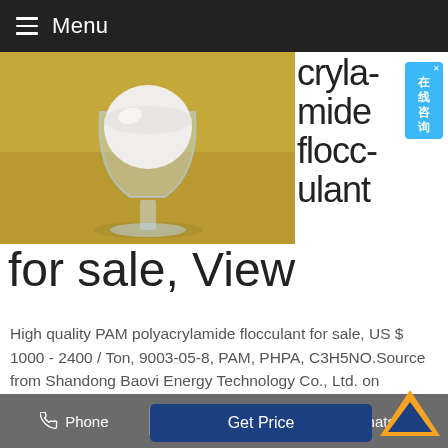Menu
[Figure (photo): Photo of white powder in a glass goblet on a yellow surface — PAM polyacrylamide flocculant product]
polyacrylamide flocculant for sale, View
High quality PAM polyacrylamide flocculant for sale, US $ 1000 - 2400 / Ton, 9003-05-8, PAM, PHPA, C3H5NO.Source from Shandong Baovi Energy Technology Co., Ltd. on Alibaba.com.
Phone  Email  Whatsapp